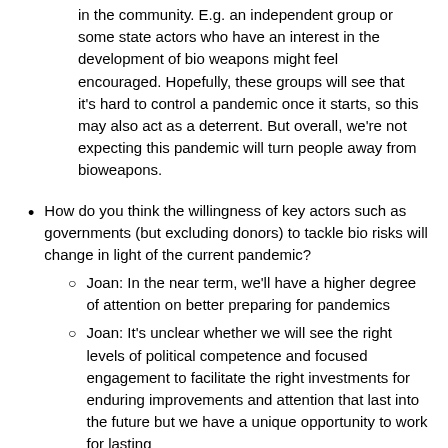in the community. E.g. an independent group or some state actors who have an interest in the development of bio weapons might feel encouraged. Hopefully, these groups will see that it's hard to control a pandemic once it starts, so this may also act as a deterrent. But overall, we're not expecting this pandemic will turn people away from bioweapons.
How do you think the willingness of key actors such as governments (but excluding donors) to tackle bio risks will change in light of the current pandemic?
Joan: In the near term, we'll have a higher degree of attention on better preparing for pandemics
Joan: It's unclear whether we will see the right levels of political competence and focused engagement to facilitate the right investments for enduring improvements and attention that last into the future but we have a unique opportunity to work for lasting